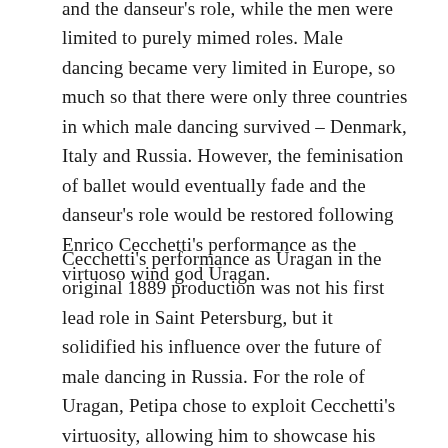and the danseur's role, while the men were limited to purely mimed roles. Male dancing became very limited in Europe, so much so that there were only three countries in which male dancing survived – Denmark, Italy and Russia. However, the feminisation of ballet would eventually fade and the danseur's role would be restored following Enrico Cecchetti's performance as the virtuoso wind god Uragan.
Cecchetti's performance as Uragan in the original 1889 production was not his first lead role in Saint Petersburg, but it solidified his influence over the future of male dancing in Russia. For the role of Uragan, Petipa chose to exploit Cecchetti's virtuosity, allowing him to showcase his incredible talents and abilities and in no small part…